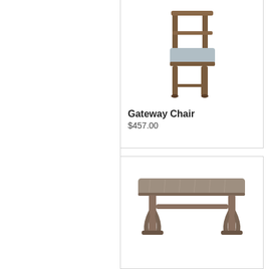[Figure (photo): A dining chair with gray upholstered seat and dark wood frame, viewed from a slight angle]
Gateway Chair
$457.00
[Figure (photo): A rectangular dining table with dark wood trestle-style base, viewed from a slight angle above]